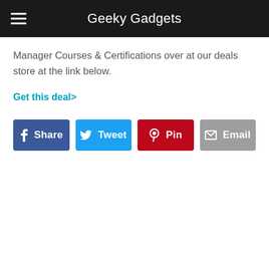Geeky Gadgets
Manager Courses & Certifications over at our deals store at the link below.
Get this deal>
[Figure (other): Social sharing buttons: Share (Facebook), Tweet (Twitter), Pin (Pinterest), Email]